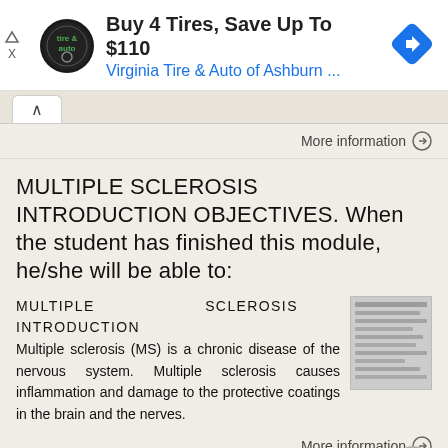[Figure (screenshot): Advertisement banner: 'Buy 4 Tires, Save Up To $110 — Virginia Tire & Auto of Ashburn ...' with circular logo and blue navigation icon]
More information →
MULTIPLE SCLEROSIS INTRODUCTION OBJECTIVES. When the student has finished this module, he/she will be able to:
MULTIPLE SCLEROSIS INTRODUCTION Multiple sclerosis (MS) is a chronic disease of the nervous system. Multiple sclerosis causes inflammation and damage to the protective coatings in the brain and the nerves.
More information →
Discussing TECENTRIO (atezolizumab) with